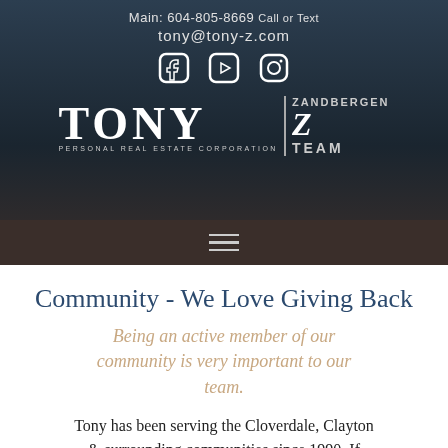Main: 604-805-8669 Call or Text
tony@tony-z.com
[Figure (logo): Social media icons: Facebook, YouTube, Instagram]
[Figure (logo): Tony Zandbergen Personal Real Estate Corporation Team logo]
[Figure (other): Hamburger menu icon]
Community - We Love Giving Back
Being an active member of our community is very important to our team.
Tony has been serving the Cloverdale, Clayton & surrounding communities since 1990. If